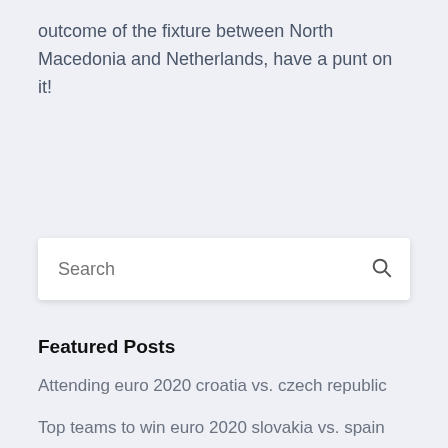outcome of the fixture between North Macedonia and Netherlands, have a punt on it!
Search
Featured Posts
Attending euro 2020 croatia vs. czech republic
Top teams to win euro 2020 slovakia vs. spain
Where can you sell your euro 2020 tickets spain vs.